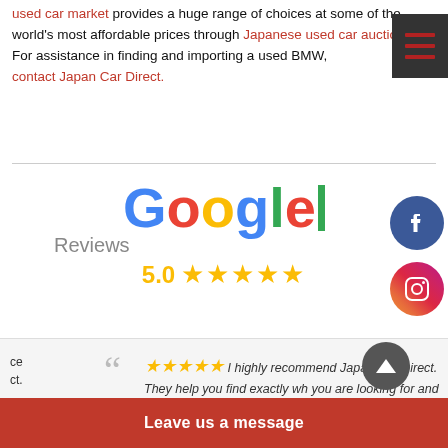used car market provides a huge range of choices at some of the world's most affordable prices through Japanese used car auctions. For assistance in finding and importing a used BMW, contact Japan Car Direct.
[Figure (logo): Google Reviews logo with 5.0 star rating]
[Figure (logo): Facebook circular icon]
[Figure (logo): Instagram circular icon]
" I highly recommend Japan Car Direct. They help you find exactly wh you are looking for and are with you
Leave us a message